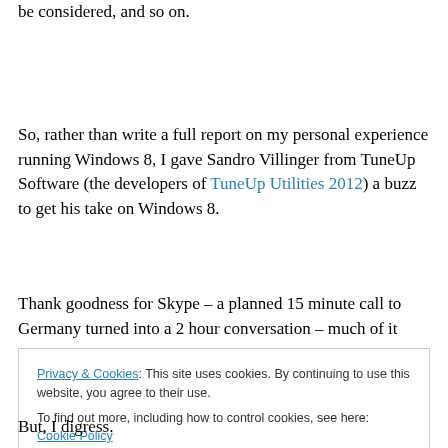be considered, and so on.
So, rather than write a full report on my personal experience running Windows 8, I gave Sandro Villinger from TuneUp Software (the developers of TuneUp Utilities 2012) a buzz to get his take on Windows 8.
Thank goodness for Skype – a planned 15 minute call to Germany turned into a 2 hour conversation – much of it
Privacy & Cookies: This site uses cookies. By continuing to use this website, you agree to their use.
To find out more, including how to control cookies, see here: Cookie Policy
But, I digress.